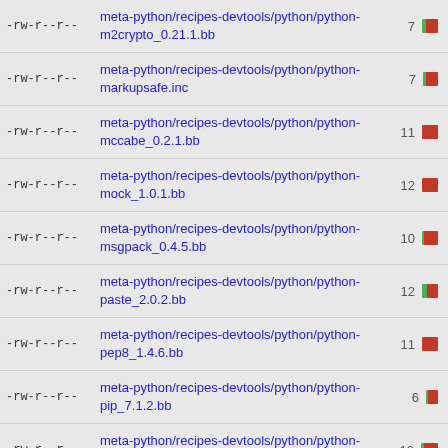-rw-r--r-- meta-python/recipes-devtools/python/python-m2crypto_0.21.1.bb 7
-rw-r--r-- meta-python/recipes-devtools/python/python-markupsafe.inc 7
-rw-r--r-- meta-python/recipes-devtools/python/python-mccabe_0.2.1.bb 11
-rw-r--r-- meta-python/recipes-devtools/python/python-mock_1.0.1.bb 12
-rw-r--r-- meta-python/recipes-devtools/python/python-msgpack_0.4.5.bb 10
-rw-r--r-- meta-python/recipes-devtools/python/python-paste_2.0.2.bb 12
-rw-r--r-- meta-python/recipes-devtools/python/python-pep8_1.4.6.bb 11
-rw-r--r-- meta-python/recipes-devtools/python/python-pip_7.1.2.bb 6
-rw-r--r-- meta-python/recipes-devtools/python/python-prettytable_0.7.2.bb 12